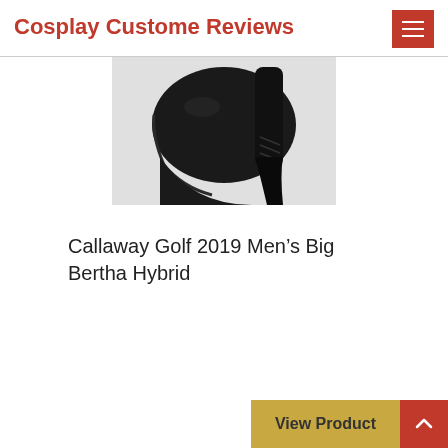Cosplay Custome Reviews
[Figure (photo): Close-up photo of a black Callaway Golf hybrid club head and hosel against a light gray background, partially cropped at top]
Callaway Golf 2019 Men's Big Bertha Hybrid
View Product